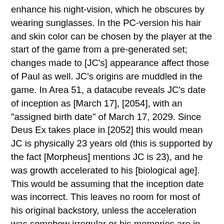enhance his night-vision, which he obscures by wearing sunglasses. In the PC-version his hair and skin color can be chosen by the player at the start of the game from a pre-generated set; changes made to [JC's] appearance affect those of Paul as well. JC's origins are muddled in the game. In Area 51, a datacube reveals JC's date of inception as [March 17], [2054], with an "assigned birth date" of March 17, 2029. Since Deus Ex takes place in [2052] this would mean JC is physically 23 years old (this is supported by the fact [Morpheus] mentions JC is 23), and he was growth accelerated to his [biological age]. This would be assuming that the inception date was incorrect. This leaves no room for most of his original backstory, unless the acceleration was somehow irregular or his memories are in fact false (which raises serious questions about his relationship with Paul). Another datacube contains an email about "creating genetically viable candidates for nano-augmentation through cloning", [speculating] that "in the future, this process could be streamlined through the application of